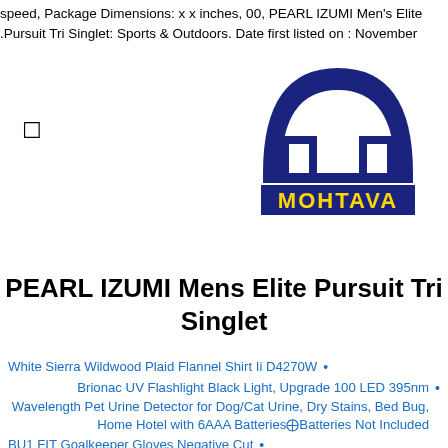speed, Package Dimensions: x x inches, 00, PEARL IZUMI Men's Elite .Pursuit Tri Singlet: Sports & Outdoors. Date first listed on : November
[Figure (logo): MOHTAVA logo: dark navy blue semicircle arch with two rectangular pillar shapes below, and MOHTAVA text in yellow/gold bold letters on a navy rectangle base]
☐
PEARL IZUMI Mens Elite Pursuit Tri Singlet
White Sierra Wildwood Plaid Flannel Shirt Ii D4270W
Brionac UV Flashlight Black Light, Upgrade 100 LED 395nm Wavelength Pet Urine Detector for Dog/Cat Urine, Dry Stains, Bed Bug, Home Hotel with 6AAA Batteries⊡Batteries Not Included
BU1 FIT Goalkeeper Gloves Negative Cut
4ucy[box]g Womens Cycling Spinning 3D Padded Brief Underwear Shorts Black